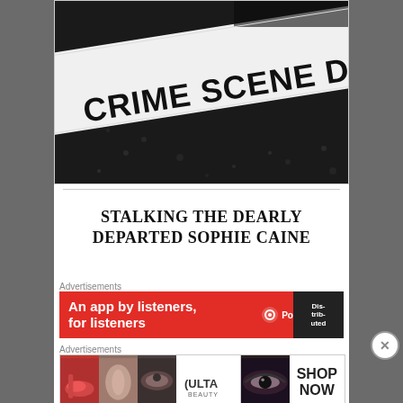[Figure (photo): Black and white crime scene photo showing police tape with text CRIME SCENE DO NOT CROSS diagonally across the image]
STALKING THE DEARLY DEPARTED SOPHIE CAINE
Advertisements
[Figure (screenshot): Pocket Casts advertisement banner in red: An app by listeners, for listeners. Shows Distributed text badge and Pocket Casts logo]
Advertisements
[Figure (screenshot): ULTA Beauty advertisement banner showing makeup imagery with SHOP NOW call to action]